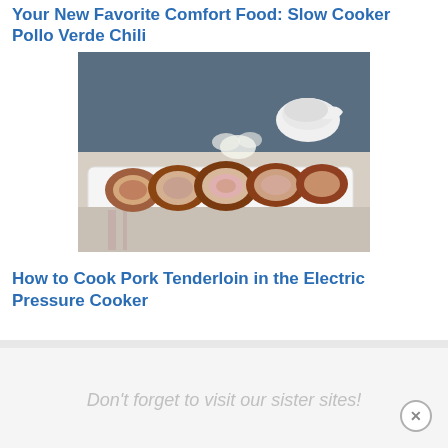Your New Favorite Comfort Food: Slow Cooker Pollo Verde Chili
[Figure (photo): Sliced pork tenderloin on a white rectangular plate, with a white gravy boat in the background, on a rustic cloth background]
How to Cook Pork Tenderloin in the Electric Pressure Cooker
Don't forget to visit our sister sites!